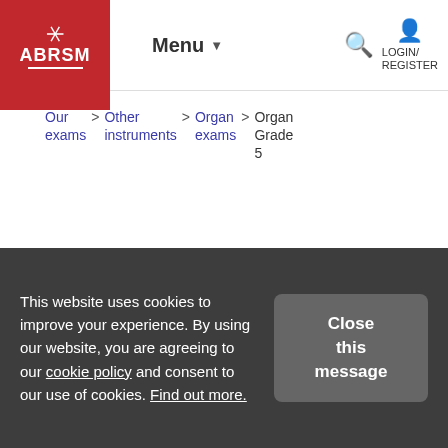ABRSM | Menu | LOGIN/REGISTER
Our exams > Other instruments > Organ exams > Organ Grade 5
Organ Grade 5
from 2011
This website uses cookies to improve your experience. By using our website, you are agreeing to our cookie policy and consent to our use of cookies. Find out more.